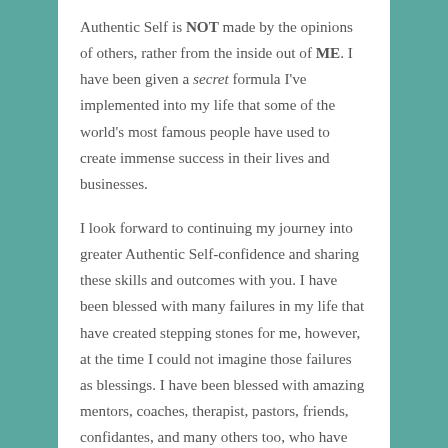Authentic Self is NOT made by the opinions of others, rather from the inside out of ME. I have been given a secret formula I've implemented into my life that some of the world's most famous people have used to create immense success in their lives and businesses.
I look forward to continuing my journey into greater Authentic Self-confidence and sharing these skills and outcomes with you. I have been blessed with many failures in my life that have created stepping stones for me, however, at the time I could not imagine those failures as blessings. I have been blessed with amazing mentors, coaches, therapist, pastors, friends, confidantes, and many others too, who have helped me recognize the stepping stones, lay them in the correct path, to building the foundation to MY Authentic Core